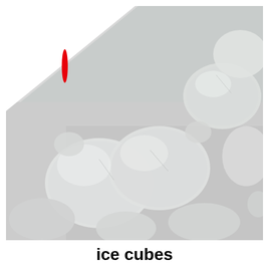[Figure (photo): Close-up photograph of ice cubes piled together, showing translucent rounded and rectangular pieces of ice with a white background in the upper-left corner. A small red vertical oval/dash mark appears in the upper-left white area of the image.]
ice cubes